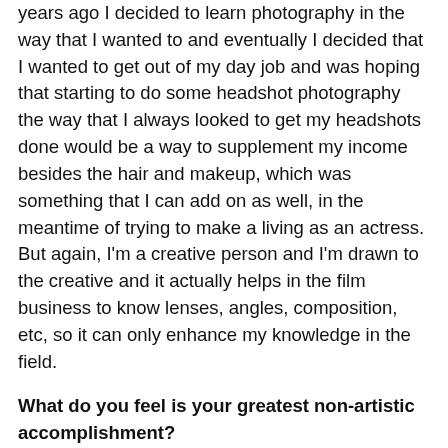years ago I decided to learn photography in the way that I wanted to and eventually I decided that I wanted to get out of my day job and was hoping that starting to do some headshot photography the way that I always looked to get my headshots done would be a way to supplement my income besides the hair and makeup, which was something that I can add on as well, in the meantime of trying to make a living as an actress. But again, I'm a creative person and I'm drawn to the creative and it actually helps in the film business to know lenses, angles, composition, etc, so it can only enhance my knowledge in the field.
What do you feel is your greatest non-artistic accomplishment?
My daughter. Because she is who she became because of